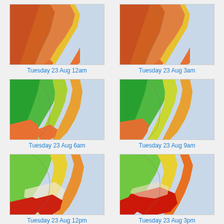[Figure (map): Weather temperature map of northeastern North America coastline showing colored temperature regions, Tuesday 23 Aug 12am]
Tuesday 23 Aug 12am
[Figure (map): Weather temperature map of northeastern North America coastline showing colored temperature regions, Tuesday 23 Aug 3am]
Tuesday 23 Aug 3am
[Figure (map): Weather temperature map of northeastern North America coastline showing colored temperature regions with green in north, Tuesday 23 Aug 6am]
Tuesday 23 Aug 6am
[Figure (map): Weather temperature map of northeastern North America coastline showing colored temperature regions with green in north, Tuesday 23 Aug 9am]
Tuesday 23 Aug 9am
[Figure (map): Weather temperature map of northeastern North America coastline showing red in south, Tuesday 23 Aug 12pm]
Tuesday 23 Aug 12pm
[Figure (map): Weather temperature map of northeastern North America coastline showing intense red in south, Tuesday 23 Aug 3pm]
Tuesday 23 Aug 3pm